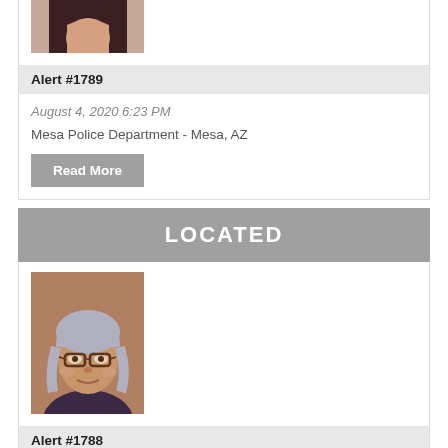[Figure (photo): Partial photo of a woman with long dark hair, cropped at top of page]
Alert #1789
August 4, 2020 6:23 PM
Mesa Police Department - Mesa, AZ
Read More
LOCATED
[Figure (photo): Photo of an elderly woman with gray hair and glasses, wearing a dark shirt]
Alert #1788
August 3, 2020 3:01 PM
Phoenix Police Department - Phoenix, AZ